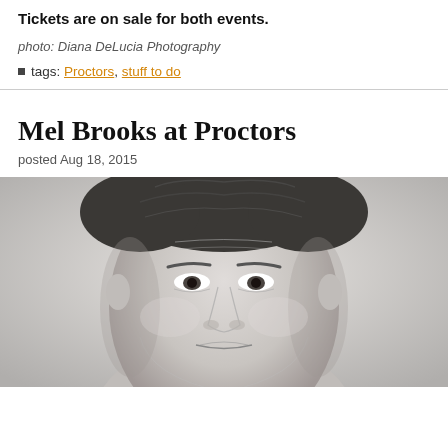Tickets are on sale for both events.
photo: Diana DeLucia Photography
tags: Proctors, stuff to do
Mel Brooks at Proctors
posted Aug 18, 2015
[Figure (photo): Black and white close-up portrait of an older man (Mel Brooks), cropped at the top of his head showing his face from forehead to chin, with grey hair and a neutral expression.]